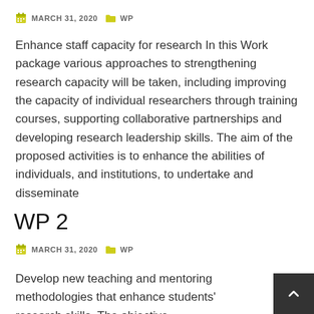MARCH 31, 2020  WP
Enhance staff capacity for research In this Work package various approaches to strengthening research capacity will be taken, including improving the capacity of individual researchers through training courses, supporting collaborative partnerships and developing research leadership skills. The aim of the proposed activities is to enhance the abilities of individuals, and institutions, to undertake and disseminate
WP 2
MARCH 31, 2020  WP
Develop new teaching and mentoring methodologies that enhance students' research skills. The objective